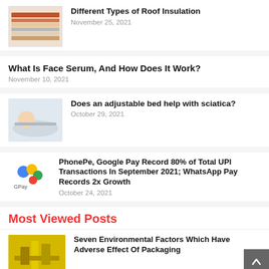[Figure (photo): Thumbnail of layered roof insulation materials]
Different Types of Roof Insulation
November 25, 2021
What Is Face Serum, And How Does It Work?
November 10, 2021
[Figure (photo): Thumbnail of a person lying on an adjustable bed]
Does an adjustable bed help with sciatica?
October 29, 2021
[Figure (logo): Google Pay logo icon with colorful circles and GPay text]
PhonePe, Google Pay Record 80% of Total UPI Transactions In September 2021; WhatsApp Pay Records 2x Growth
October 24, 2021
Most Viewed Posts
[Figure (photo): Thumbnail of yellow road/packaging environmental scene]
Seven Environmental Factors Which Have Adverse Effect Of Packaging